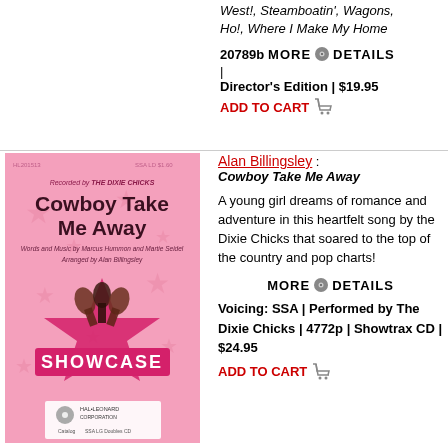West!, Steamboatin', Wagons, Ho!, Where I Make My Home
20789b  MORE DETAILS | Director's Edition | $19.95
ADD TO CART
[Figure (illustration): Sheet music cover for 'Cowboy Take Me Away' by The Dixie Chicks, Hal Leonard Showcase series, pink cover with star design and microphones]
Alan Billingsley : Cowboy Take Me Away
A young girl dreams of romance and adventure in this heartfelt song by the Dixie Chicks that soared to the top of the country and pop charts!
MORE DETAILS
Voicing: SSA | Performed by The Dixie Chicks | 4772p | Showtrax CD | $24.95
ADD TO CART